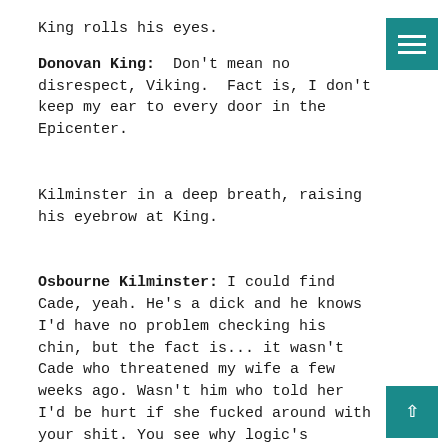King rolls his eyes.
Donovan King:  Don't mean no disrespect, Viking.  Fact is, I don't keep my ear to every door in the Epicenter.
Kilminster in a deep breath, raising his eyebrow at King.
Osbourne Kilminster: I could find Cade, yeah. He's a dick and he knows I'd have no problem checking his chin, but the fact is... it wasn't Cade who threatened my wife a few weeks ago. Wasn't him who told her I'd be hurt if she fucked around with your shit. You see why logic's brought me to your door, right?
Leaning forward, Osbourne narrows his eyes a little.